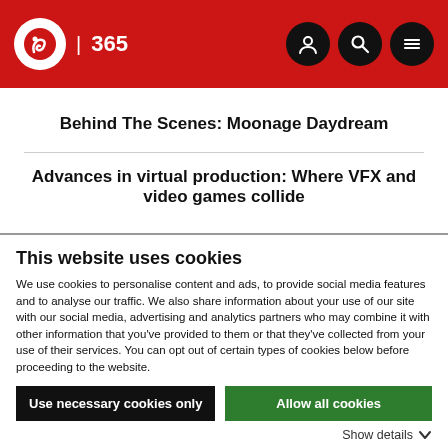IBC 365 | Navigation header with logo, user, search, menu icons
Behind The Scenes: Moonage Daydream
Advances in virtual production: Where VFX and video games collide
This website uses cookies
We use cookies to personalise content and ads, to provide social media features and to analyse our traffic. We also share information about your use of our site with our social media, advertising and analytics partners who may combine it with other information that you've provided to them or that they've collected from your use of their services. You can opt out of certain types of cookies below before proceeding to the website.
Use necessary cookies only | Allow all cookies
Show details